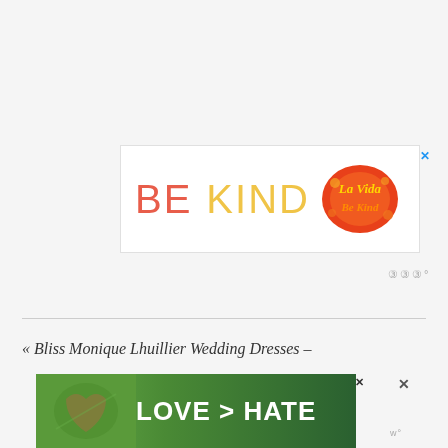[Figure (screenshot): Advertisement banner with text 'BE KIND' in red and yellow letters, with a decorative logo blob on the right side. A blue X close button is in the top right corner.]
[Figure (logo): A small 'w°' logo watermark in gray]
« Bliss Monique Lhuillier Wedding Dresses -
[Figure (screenshot): Advertisement banner with hands making a heart shape against a green background, with text 'LOVE > HATE' in white bold letters. Has a close X button.]